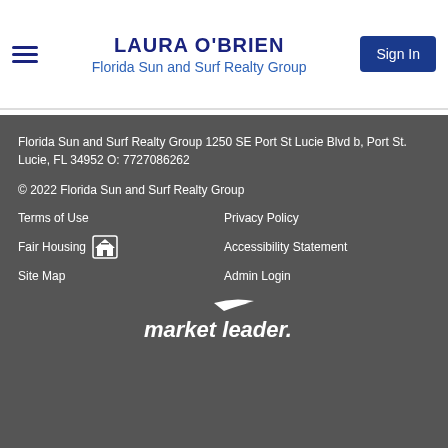LAURA O'BRIEN
Florida Sun and Surf Realty Group
Florida Sun and Surf Realty Group 1250 SE Port St Lucie Blvd b, Port St. Lucie, FL 34952 O: 7727086262
© 2022 Florida Sun and Surf Realty Group
Terms of Use
Privacy Policy
Fair Housing
Accessibility Statement
Site Map
Admin Login
[Figure (logo): market leader. logo in white text on dark background]